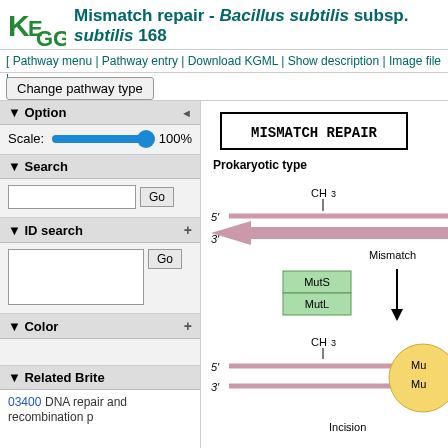Mismatch repair - Bacillus subtilis subsp. subtilis 168
[ Pathway menu | Pathway entry | Download KGML | Show description | Image file |
Change pathway type
▼ Option
Scale: 100%
▼ Search
Go
▼ ID search
Go
▼ Color
▼ Related Brite
03400  DNA repair and recombination p
[Figure (schematic): KEGG Mismatch Repair pathway diagram showing Prokaryotic type. Displays DNA strands labeled 5' and 3' with CH3 methyl group, pink arrow indicating direction, Mismatch label, green boxes for MutS and MutL proteins, and yellow circle partially visible with Mu labels and Incision label at bottom.]